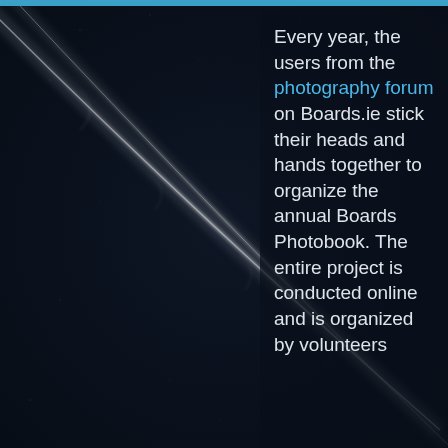[Figure (photo): Dark night sky photo with diagonal contrail/vapor trail streaks visible against a very dark navy/black background]
Every year, the users from the photography forum on Boards.ie stick their heads and hands together to organize the annual Boards Photobook. The entire project is conducted online and is organized by volunteers